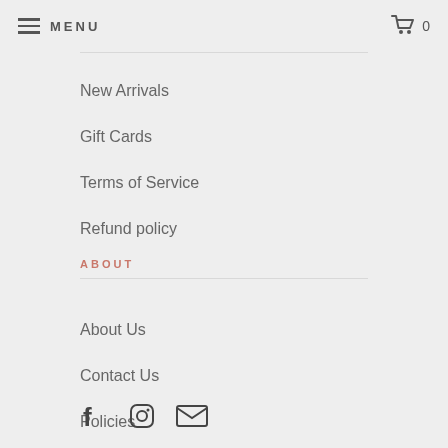MENU  0
New Arrivals
Gift Cards
Terms of Service
Refund policy
ABOUT
About Us
Contact Us
Policies
[Figure (infographic): Social media icons: Facebook, Instagram, Email]